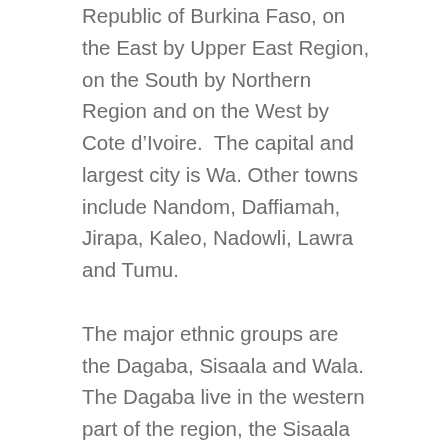Republic of Burkina Faso, on the East by Upper East Region, on the South by Northern Region and on the West by Cote d'Ivoire.  The capital and largest city is Wa. Other towns include Nandom, Daffiamah, Jirapa, Kaleo, Nadowli, Lawra and Tumu.
The major ethnic groups are the Dagaba, Sisaala and Wala. The Dagaba live in the western part of the region, the Sisaala live in the eastern areas, and the Wala live in Wa and a few of the nearby villages. The Sisaala and Dagaba are mostly Christian and animist, while most Wala are Muslim; Wa is the largest predominantly Islamic city in Ghana. Waali, the